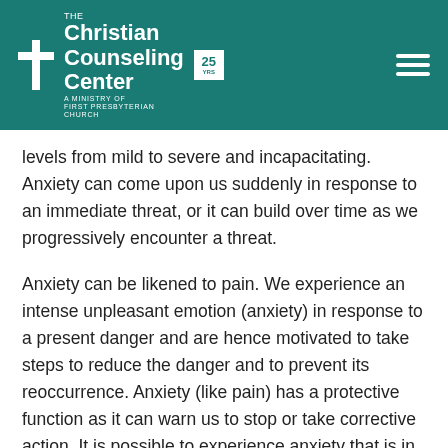The Christian Counseling Center — A Ministry of First Presbyterian Church
levels from mild to severe and incapacitating. Anxiety can come upon us suddenly in response to an immediate threat, or it can build over time as we progressively encounter a threat.
Anxiety can be likened to pain. We experience an intense unpleasant emotion (anxiety) in response to a present danger and are hence motivated to take steps to reduce the danger and to prevent its reoccurrence. Anxiety (like pain) has a protective function as it can warn us to stop or take corrective action. It is possible to experience anxiety that is in response to a misperception or exaggerated danger. When this occurs, the anxiety becomes counterproductive and in worse